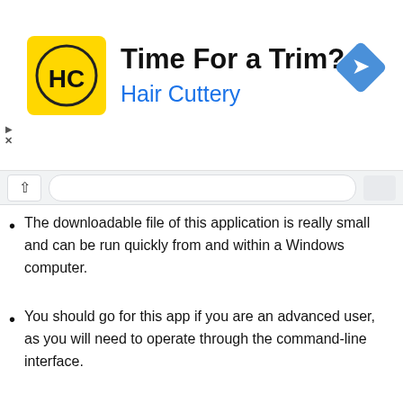[Figure (advertisement): Hair Cuttery advertisement banner with yellow logo showing 'HC' text, ad title 'Time For a Trim?', subtitle 'Hair Cuttery' in blue, and a blue navigation arrow icon on the right.]
The downloadable file of this application is really small and can be run quickly from and within a Windows computer.
You should go for this app if you are an advanced user, as you will need to operate through the command-line interface.
More than hundreds of hash and cipher types are supported along with document files and networking traffic systems.
You can recover or reset passwords for popular CMS like WordPress and UNIX flavors like Linux and